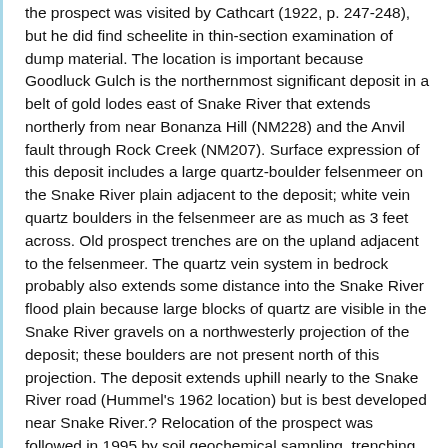the prospect was visited by Cathcart (1922, p. 247-248), but he did find scheelite in thin-section examination of dump material. The location is important because Goodluck Gulch is the northernmost significant deposit in a belt of gold lodes east of Snake River that extends northerly from near Bonanza Hill (NM228) and the Anvil fault through Rock Creek (NM207). Surface expression of this deposit includes a large quartz-boulder felsenmeer on the Snake River plain adjacent to the deposit; white vein quartz boulders in the felsenmeer are as much as 3 feet across. Old prospect trenches are on the upland adjacent to the felsenmeer. The quartz vein system in bedrock probably also extends some distance into the Snake River flood plain because large blocks of quartz are visible in the Snake River gravels on a northwesterly projection of the deposit; these boulders are not present north of this projection. The deposit extends uphill nearly to the Snake River road (Hummel's 1962 location) but is best developed near Snake River.? Relocation of the prospect was followed in 1995 by soil geochemical sampling, trenching, and drilling. The deposit consists of schist extensively replaced by arsenopyrite, schist replaced by tabular albite impregnated by arsenopyrite, and veinlets and extensive masses of quartz as much as several feet across. Most of the deposit is crudely